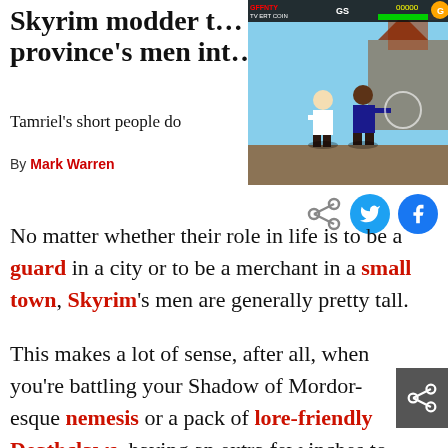Skyrim modder t… province's men int…
Tamriel's short people do
By Mark Warren
[Figure (screenshot): Screenshot of a retro fighting video game with two characters fighting, HUD visible at top with health bars and score.]
No matter whether their role in life is to be a guard in a city or to be a merchant in a small town, Skyrim's men are generally pretty tall.
This makes a lot of sense, after all, when you're battling your Shadow of Mordor-esque nemesis or a pack of lore-friendly Deathclaws, having an extra few inches to your wingspan can be a key edge in combat.